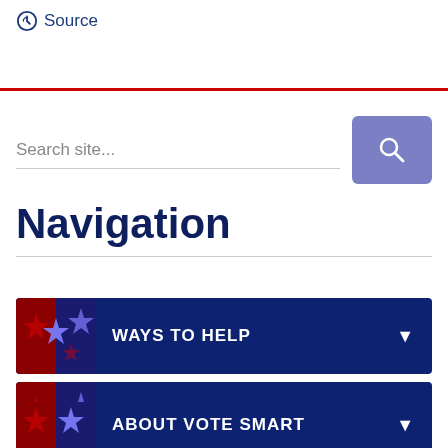Source
Search site...
Navigation
WAYS TO HELP
EDUCATION
ABOUT VOTE SMART